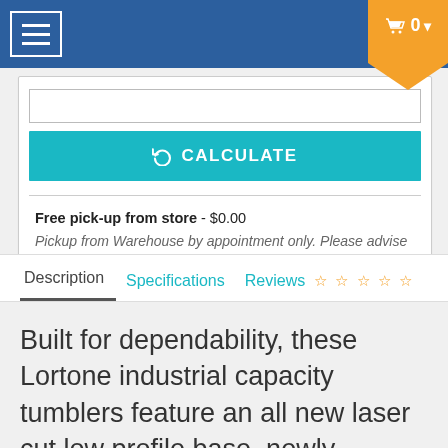Navigation bar with hamburger menu and cart (0 items)
[Figure (screenshot): Teal Calculate button with refresh icon]
Free pick-up from store - $0.00
Pickup from Warehouse by appointment only. Please advise date/time in order comments.
Description | Specifications | Reviews ☆☆☆☆☆
Built for dependability, these Lortone industrial capacity tumblers feature an all new laser cut low profile base, newly